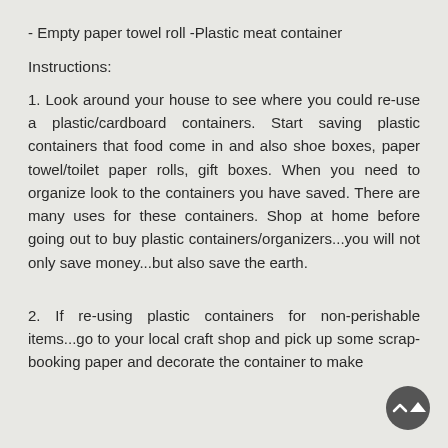- Empty paper towel roll -Plastic meat container
Instructions:
1. Look around your house to see where you could re-use a plastic/cardboard containers. Start saving plastic containers that food come in and also shoe boxes, paper towel/toilet paper rolls, gift boxes. When you need to organize look to the containers you have saved. There are many uses for these containers. Shop at home before going out to buy plastic containers/organizers...you will not only save money...but also save the earth.
2. If re-using plastic containers for non-perishable items...go to your local craft shop and pick up some scrap-booking paper and decorate the container to make